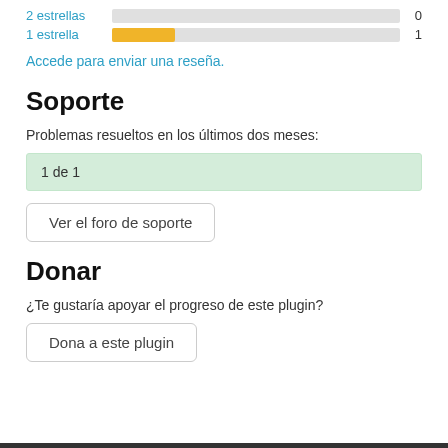[Figure (bar-chart): Rating bars]
Accede para enviar una reseña.
Soporte
Problemas resueltos en los últimos dos meses:
1 de 1
Ver el foro de soporte
Donar
¿Te gustaría apoyar el progreso de este plugin?
Dona a este plugin